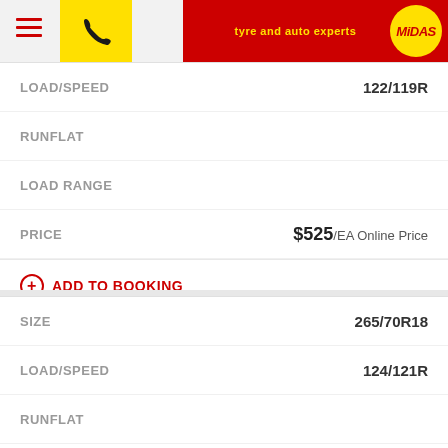Midas — tyre and auto experts
| Field | Value |
| --- | --- |
| LOAD/SPEED | 122/119R |
| RUNFLAT |  |
| LOAD RANGE |  |
| PRICE | $525/EA Online Price |
⊕ ADD TO BOOKING
| Field | Value |
| --- | --- |
| SIZE | 265/70R18 |
| LOAD/SPEED | 124/121R |
| RUNFLAT |  |
| LOAD RANGE |  |
| PRICE | $593/EA Online Price |